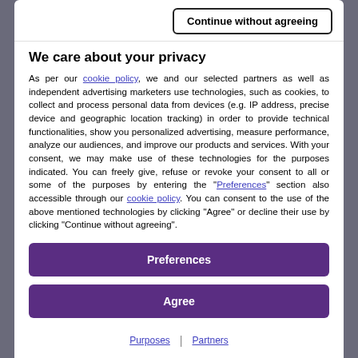Continue without agreeing
We care about your privacy
As per our cookie policy, we and our selected partners as well as independent advertising marketers use technologies, such as cookies, to collect and process personal data from devices (e.g. IP address, precise device and geographic location tracking) in order to provide technical functionalities, show you personalized advertising, measure performance, analyze our audiences, and improve our products and services. With your consent, we may make use of these technologies for the purposes indicated. You can freely give, refuse or revoke your consent to all or some of the purposes by entering the "Preferences" section also accessible through our cookie policy. You can consent to the use of the above mentioned technologies by clicking "Agree" or decline their use by clicking "Continue without agreeing".
Preferences
Agree
Purposes | Partners